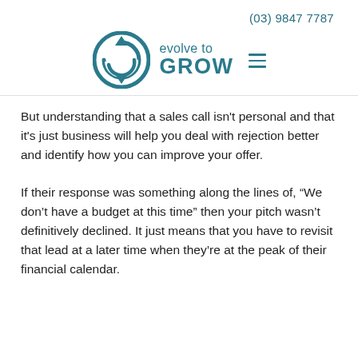(03) 9847 7787
[Figure (logo): Evolve to GROW company logo with circular arrow icon and hamburger menu icon]
But understanding that a sales call isn't personal and that it's just business will help you deal with rejection better and identify how you can improve your offer.
If their response was something along the lines of, “We don’t have a budget at this time” then your pitch wasn’t definitively declined. It just means that you have to revisit that lead at a later time when they’re at the peak of their financial calendar.